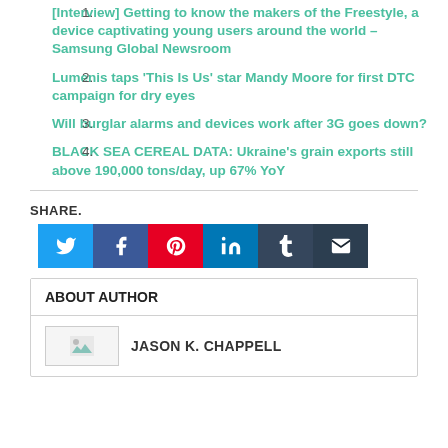[Interview] Getting to know the makers of the Freestyle, a device captivating young users around the world – Samsung Global Newsroom
Lumenis taps 'This Is Us' star Mandy Moore for first DTC campaign for dry eyes
Will burglar alarms and devices work after 3G goes down?
BLACK SEA CEREAL DATA: Ukraine's grain exports still above 190,000 tons/day, up 67% YoY
SHARE.
[Figure (infographic): Social share buttons: Twitter (blue), Facebook (dark blue), Pinterest (red), LinkedIn (blue), Tumblr (dark navy), Email (dark)]
ABOUT AUTHOR
JASON K. CHAPPELL